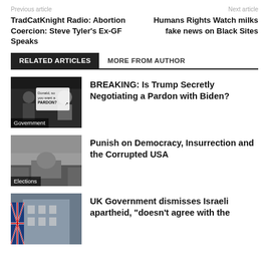Previous article   Next article
TradCatKnight Radio: Abortion Coercion: Steve Tyler's Ex-GF Speaks
Humans Rights Watch milks fake news on Black Sites
RELATED ARTICLES   MORE FROM AUTHOR
[Figure (photo): Two men on a debate stage with text overlay 'Donald, so you want a PARDON?' with a Government label]
BREAKING: Is Trump Secretly Negotiating a Pardon with Biden?
[Figure (photo): Black and white photo of Capitol building in fog with Elections label]
Punish on Democracy, Insurrection and the Corrupted USA
[Figure (photo): Building with UK flags]
UK Government dismisses Israeli apartheid, "doesn't agree with the